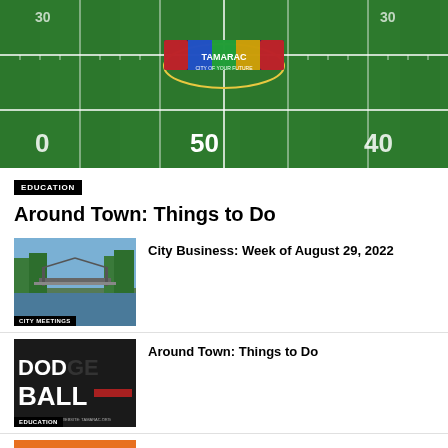[Figure (photo): Aerial view of football field at 50-yard line with Tamarac city logo at center]
EDUCATION
Around Town: Things to Do
[Figure (photo): Bridge over canal with trees, labeled CITY MEETINGS]
City Business: Week of August 29, 2022
[Figure (photo): Dodgeball event flyer in dark background, labeled EDUCATION]
Around Town: Things to Do